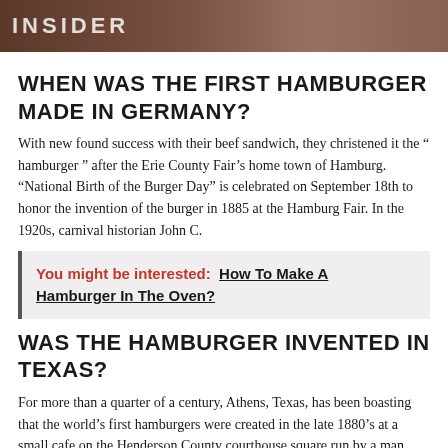[Figure (photo): Header image with INSIDER text overlay on a food/burger background]
WHEN WAS THE FIRST HAMBURGER MADE IN GERMANY?
With new found success with their beef sandwich, they christened it the “ hamburger ” after the Erie County Fair’s home town of Hamburg. “National Birth of the Burger Day” is celebrated on September 18th to honor the invention of the burger in 1885 at the Hamburg Fair. In the 1920s, carnival historian John C.
You might be interested: How To Make A Hamburger In The Oven?
WAS THE HAMBURGER INVENTED IN TEXAS?
For more than a quarter of a century, Athens, Texas, has been boasting that the world’s first hamburgers were created in the late 1880’s at a small cafe on the Henderson County courthouse square run by a man known as Uncle Fletcher Davis.